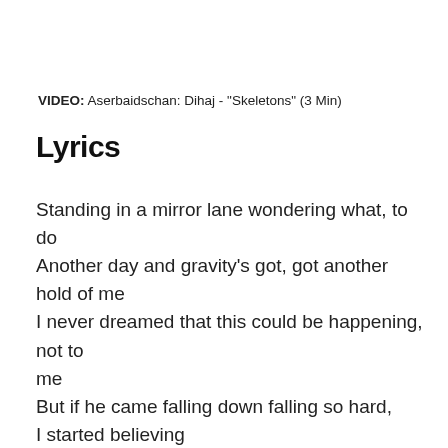VIDEO: Aserbaidschan: Dihaj - "Skeletons" (3 Min)
Lyrics
Standing in a mirror lane wondering what, to do
Another day and gravity's got, got another hold of me
I never dreamed that this could be happening, not to me
But if he came falling down falling so hard,
I started believing

Now I'm into daydreams
Amazed by thorn jeans
Deep into high extremes
When they with blah blah feet...